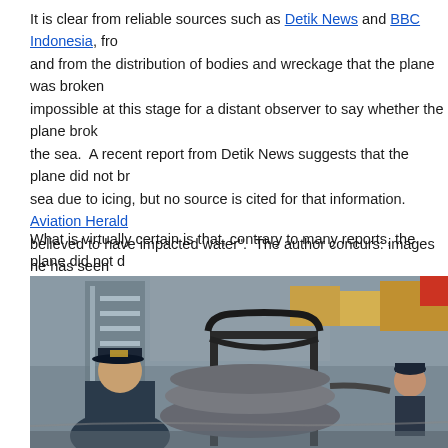It is clear from reliable sources such as Detik News and BBC Indonesia, from and from the distribution of bodies and wreckage that the plane was broken impossible at this stage for a distant observer to say whether the plane brok the sea. A recent report from Detik News suggests that the plane did not br sea due to icing, but no source is cited for that information. Aviation Herald believed to have impacted water". The author concurs: images he has seen here suggest water impact.
What is virtually certain is that, contrary to many reports, the plane did not d recovered deployed evacuation slides do not furnish evidence of attempted hauled with difficulty by a team of men. Fact: an unpacked slide can usually most. Fact: the inflation mechanism uses the venturi effect to draw in air as if the air inlet valve is underwater, water will be drawn in. Broken fittings and water in at least one slide indicates slide deployment on impact with, or und
[Figure (photo): Photo of navy/military personnel working with what appears to be an inflatable evacuation slide on a ship deck. Two people wearing dark caps are visible, with ship infrastructure and containers visible in the background.]